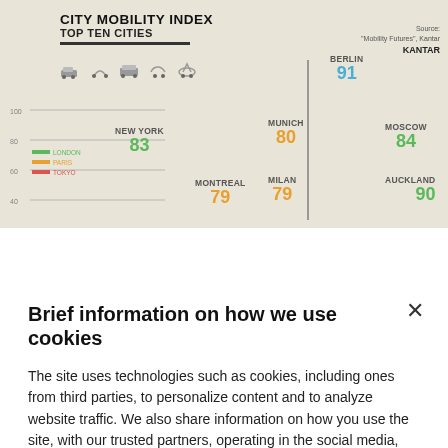[Figure (infographic): City Mobility Index - Top Ten Cities infographic showing cities with mobility scores. Berlin 91 (blue), Auckland 90 (green), Moscow 84 (green), New York 83 (green), Munich 80 (orange), Milan 79 (orange), Montreal 79 (orange). Source: Mobility Futures, Kantar.]
Brief information on how we use cookies
The site uses technologies such as cookies, including ones from third parties, to personalize content and to analyze website traffic. We also share information on how you use the site, with our trusted partners, operating in the social media, advertising and statistical data sectors. By closing this banner, continuing to browse this page or clicking any of its elements, such as a link or button, you accept the use of technical